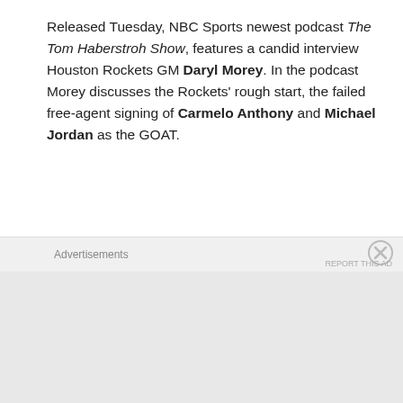Released Tuesday, NBC Sports newest podcast The Tom Haberstroh Show, features a candid interview Houston Rockets GM Daryl Morey. In the podcast Morey discusses the Rockets' rough start, the failed free-agent signing of Carmelo Anthony and Michael Jordan as the GOAT.
Fans can listen to or subscribe to The Haberstroh Show here: iTunes / Spotify / Stitcher
Advertisements